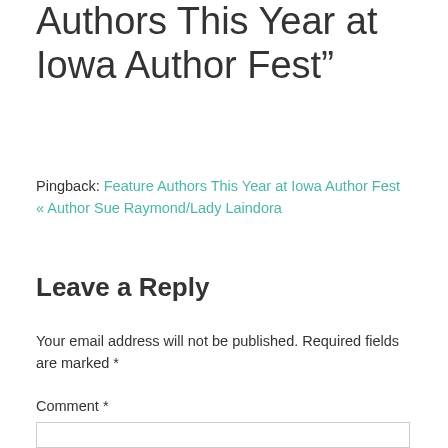Authors This Year at Iowa Author Fest”
Pingback: Feature Authors This Year at Iowa Author Fest « Author Sue Raymond/Lady Laindora
Leave a Reply
Your email address will not be published. Required fields are marked *
Comment *